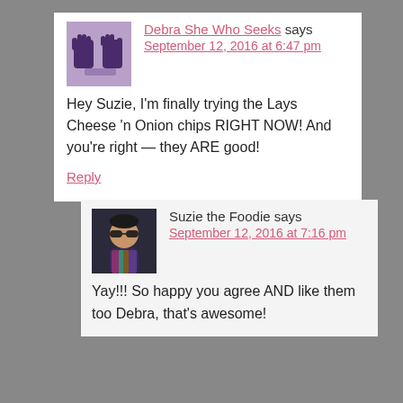Debra She Who Seeks says September 12, 2016 at 6:47 pm
Hey Suzie, I'm finally trying the Lays Cheese 'n Onion chips RIGHT NOW! And you're right — they ARE good!
Reply
Suzie the Foodie says September 12, 2016 at 7:16 pm
Yay!!! So happy you agree AND like them too Debra, that's awesome!